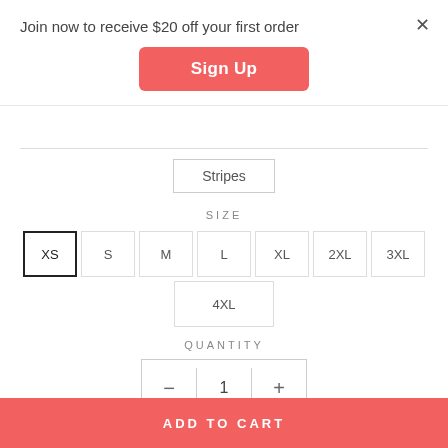Join now to receive $20 off your first order
Sign Up
Stripes
SIZE
XS  S  M  L  XL  2XL  3XL
4XL
QUANTITY
—  1  +
Only 5 items in stock!
ADD TO CART